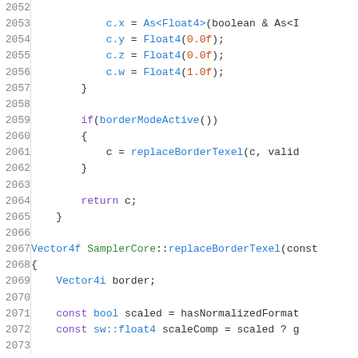[Figure (screenshot): Source code listing showing C++ code lines 2052-2073, featuring code for float4 assignments (c.x, c.y, c.z, c.w), borderModeActive check, replaceBorderTexel call, return statement, and start of SamplerCore::replaceBorderTexel function with Vector4i border and const bool/float4 declarations.]